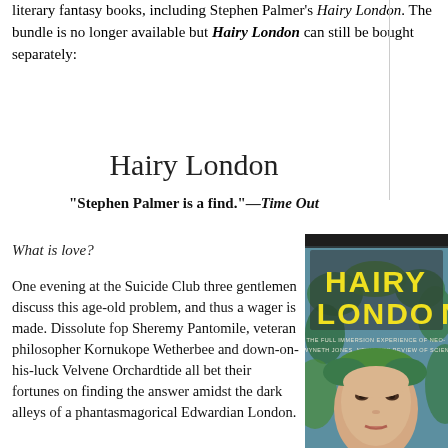literary fantasy books, including Stephen Palmer's Hairy London. The bundle is no longer available but Hairy London can still be bought separately:
Hairy London
"Stephen Palmer is a find."—Time Out
What is love?
One evening at the Suicide Club three gentlemen discuss this age-old problem, and thus a wager is made. Dissolute fop Sheremy Pantomile, veteran philosopher Kornukope Wetherbee and down-on-his-luck Velvene Orchardtide all bet their fortunes on finding the answer amidst the dark alleys of a phantasmagorical Edwardian London.
But then, overnight, London Town
[Figure (illustration): Book cover of Hairy London showing decorative Art Nouveau style illustration with bold yellow text 'HAIRY LONDON' and a woman's face surrounded by ornate green foliage patterns, with subtitle text partially visible.]